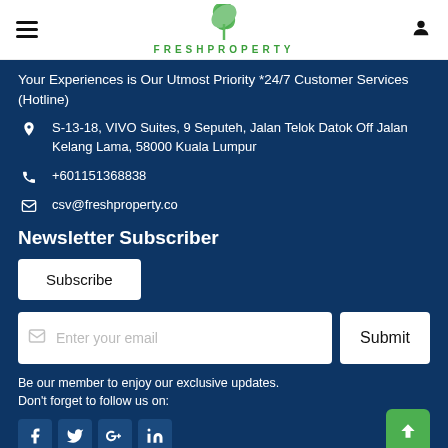FRESHPROPERTY
Your Experiences is Our Utmost Priority *24/7 Customer Services (Hotline)
S-13-18, VIVO Suites, 9 Seputeh, Jalan Telok Datok Off Jalan Kelang Lama, 58000 Kuala Lumpur
+601151368838
csv@freshproperty.co
Newsletter Subscriber
Subscribe
Enter your email
Submit
Be our member to enjoy our exclusive updates. Don't forget to follow us on: